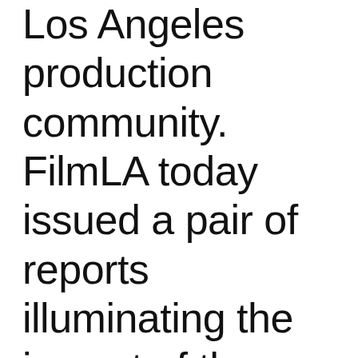Los Angeles production community. FilmLA today issued a pair of reports illuminating the impact of the COVID-19 pandemic on the Los Angeles film economy. Powering forward since October,